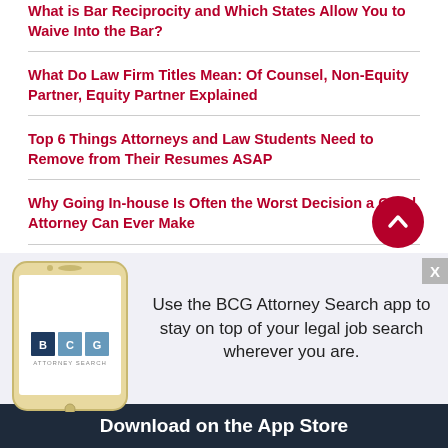What is Bar Reciprocity and Which States Allow You to Waive Into the Bar?
What Do Law Firm Titles Mean: Of Counsel, Non-Equity Partner, Equity Partner Explained
Top 6 Things Attorneys and Law Students Need to Remove from Their Resumes ASAP
Why Going In-house Is Often the Worst Decision a Good Attorney Can Ever Make
Top 9 Ways For Any Attorney To Generate a Huge Book of Business
[Figure (illustration): BCG Attorney Search mobile app advertisement banner with phone graphic and BCG logo. Text reads: Use the BCG Attorney Search app to stay on top of your legal job search wherever you are. Download on the App Store.]